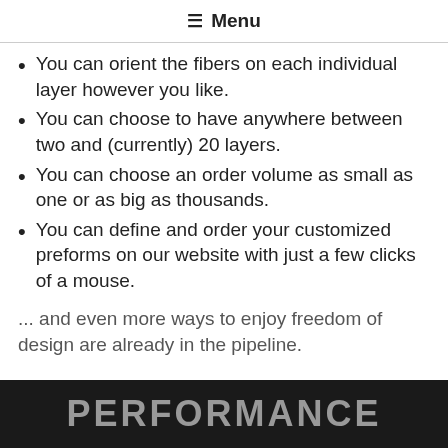☰ Menu
You can orient the fibers on each individual layer however you like.
You can choose to have anywhere between two and (currently) 20 layers.
You can choose an order volume as small as one or as big as thousands.
You can define and order your customized preforms on our website with just a few clicks of a mouse.
... and even more ways to enjoy freedom of design are already in the pipeline.
PERFORMANCE